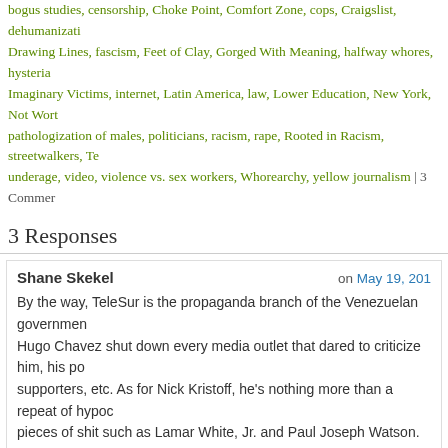bogus studies, censorship, Choke Point, Comfort Zone, cops, Craigslist, dehumanization, Drawing Lines, fascism, Feet of Clay, Gorged With Meaning, halfway whores, hysteria, Imaginary Victims, internet, Latin America, law, Lower Education, New York, Not Worth..., pathologization of males, politicians, racism, rape, Rooted in Racism, streetwalkers, Te..., underage, video, violence vs. sex workers, Whorearchy, yellow journalism | 3 Comments
3 Responses
Shane Skekel on May 19, 201...
By the way, TeleSur is the propaganda branch of the Venezuelan government. Hugo Chavez shut down every media outlet that dared to criticize him, his po... supporters, etc. As for Nick Kristoff, he's nothing more than a repeat of hypoc... pieces of shit such as Lamar White, Jr. and Paul Joseph Watson. As far as I'... belongs in the same room with Go Nagai's <a href="http://en.wikipedia.org/wiki/Violence_Jack&quot;)Violence Jack, and to... to both the comics and OVAs, by the time you see Jack, it's already too late.
★ Like
Days Of Broken Arrows on May 19, 201...
Regarding the Craigslist study: These people don't seem to realize that life d... begin with the Internet. Before Craigslist, alternative weeklies had huge class... sections with all sorts of ads for "companionship," "massage," etc. When Cr...